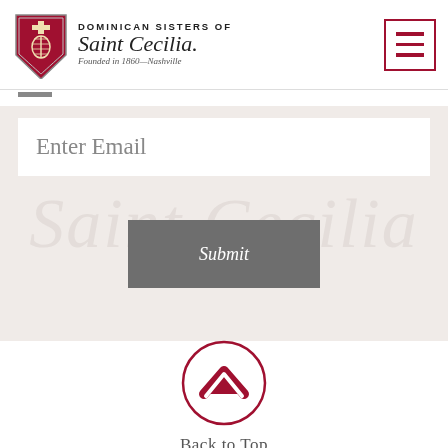[Figure (logo): Dominican Sisters of Saint Cecilia logo with shield emblem on left, organization name and founding information on right, hamburger menu icon on far right]
[Figure (screenshot): Email subscription form with 'Enter Email' input field and gray 'Submit' button, over a light beige background with faint Saint Cecilia watermark text]
[Figure (illustration): Back to Top button: circular crimson outline with a crimson chevron/caret up arrow inside]
Back to Top